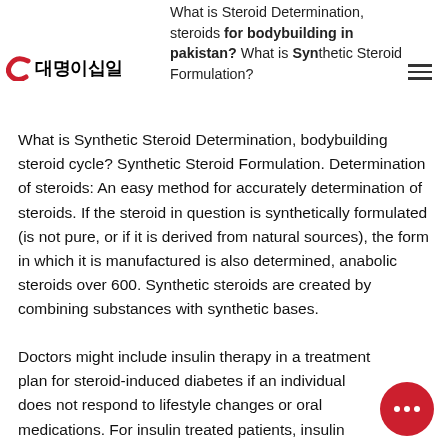What is Steroid Determination, steroids for bodybuilding in pakistan? What is Synthetic Steroid Formulation?
[Figure (logo): Logo: red C shape followed by Korean text '대명이십일']
What is Synthetic Steroid Determination, bodybuilding steroid cycle? Synthetic Steroid Formulation. Determination of steroids: An easy method for accurately determination of steroids. If the steroid in question is synthetically formulated (is not pure, or if it is derived from natural sources), the form in which it is manufactured is also determined, anabolic steroids over 600. Synthetic steroids are created by combining substances with synthetic bases.
Doctors might include insulin therapy in a treatment plan for steroid-induced diabetes if an individual does not respond to lifestyle changes or oral medications. For insulin treated patients, insulin therapy should be